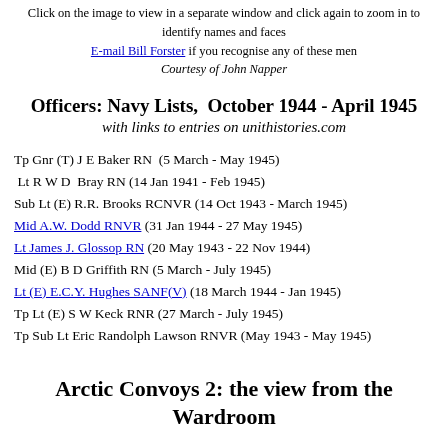Click on the image to view in a separate window and click again to zoom in to identify names and faces
E-mail Bill Forster if you recognise any of these men
Courtesy of John Napper
Officers: Navy Lists,  October 1944 - April 1945 with links to entries on unithistories.com
Tp Gnr (T) J E Baker RN  (5 March - May 1945)
Lt R W D  Bray RN (14 Jan 1941 - Feb 1945)
Sub Lt (E) R.R. Brooks RCNVR (14 Oct 1943 - March 1945)
Mid A.W. Dodd RNVR (31 Jan 1944 - 27 May 1945)
Lt James J. Glossop RN (20 May 1943 - 22 Nov 1944)
Mid (E) B D Griffith RN (5 March - July 1945)
Lt (E) E.C.Y. Hughes SANF(V) (18 March 1944 - Jan 1945)
Tp Lt (E) S W Keck RNR (27 March - July 1945)
Tp Sub Lt Eric Randolph Lawson RNVR (May 1943 - May 1945)
Arctic Convoys 2: the view from the Wardroom